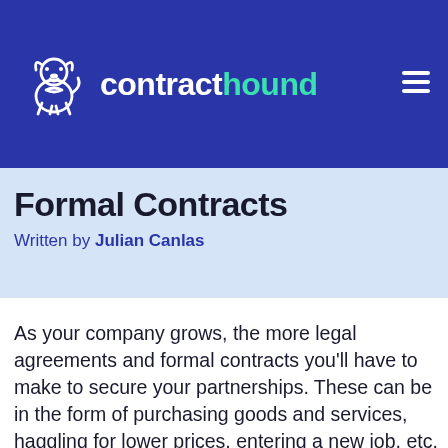contracthound
Formal Contracts
Written by Julian Canlas
As your company grows, the more legal agreements and formal contracts you'll have to make to secure your partnerships. These can be in the form of purchasing goods and services, haggling for lower prices, entering a new job, etc. As such, you must understand the aspects of formal contracts to protect your business and ensure